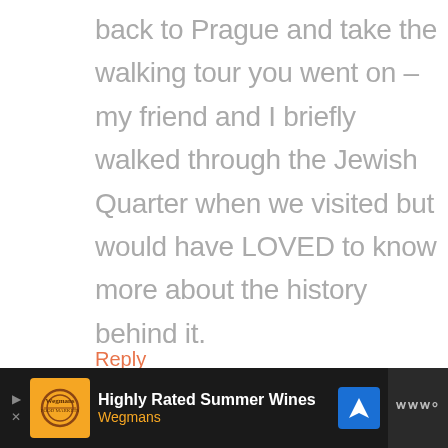back to Prague and take the walking tour you went on – my friend and I briefly walked through the Jewish Quarter when we visited but would have LOVED to know more about the history behind it.
Reply
[Figure (other): Advertisement banner at bottom of page: dark background with Wegmans logo (orange square with decorative text), text 'Highly Rated Summer Wines' in white bold and 'Wegmans' in orange, a blue diamond navigation icon, and a gray W logo on the far right.]